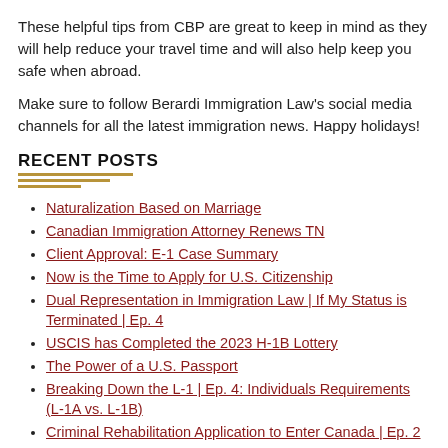These helpful tips from CBP are great to keep in mind as they will help reduce your travel time and will also help keep you safe when abroad.
Make sure to follow Berardi Immigration Law's social media channels for all the latest immigration news. Happy holidays!
RECENT POSTS
Naturalization Based on Marriage
Canadian Immigration Attorney Renews TN
Client Approval: E-1 Case Summary
Now is the Time to Apply for U.S. Citizenship
Dual Representation in Immigration Law | If My Status is Terminated | Ep. 4
USCIS has Completed the 2023 H-1B Lottery
The Power of a U.S. Passport
Breaking Down the L-1 | Ep. 4: Individuals Requirements (L-1A vs. L-1B)
Criminal Rehabilitation Application to Enter Canada | Ep. 2
Everything You Need to Know About O-1 Visa